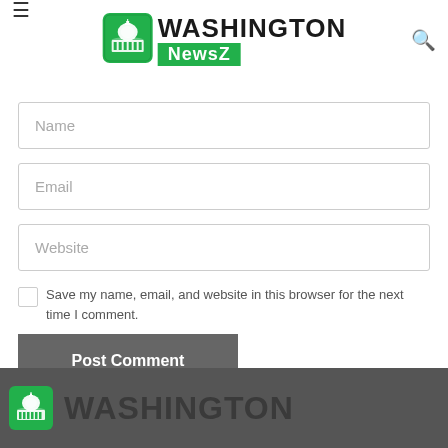[Figure (logo): Washington NewsZ logo with green Capitol building icon and WASHINGTON text in black, NewsZ in green banner]
Name
Email
Website
Save my name, email, and website in this browser for the next time I comment.
Post Comment
[Figure (logo): Washington NewsZ logo (partial) in footer with dark gray background, green Capitol icon and WASHINGTON text in dark gray]